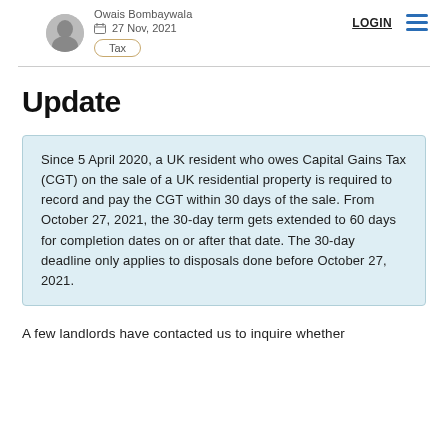Owais Bombaywala | 27 Nov, 2021 | Tax | LOGIN
Update
Since 5 April 2020, a UK resident who owes Capital Gains Tax (CGT) on the sale of a UK residential property is required to record and pay the CGT within 30 days of the sale. From October 27, 2021, the 30-day term gets extended to 60 days for completion dates on or after that date. The 30-day deadline only applies to disposals done before October 27, 2021.
A few landlords have contacted us to inquire whether